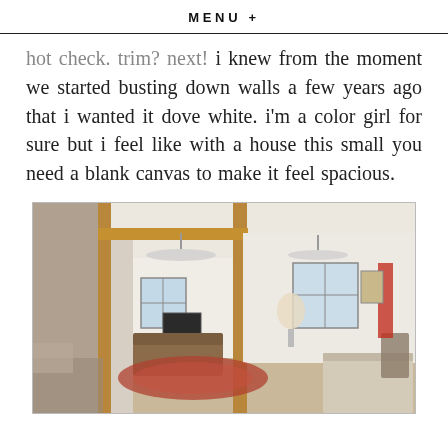MENU +
hot check. trim? next! i knew from the moment we started busting down walls a few years ago that i wanted it dove white. i'm a color girl for sure but i feel like with a house this small you need a blank canvas to make it feel spacious.
[Figure (photo): Interior home renovation photo showing a living room with walls partially removed, exposed wood beam framing in foreground, patterned sofa, area rug, ceiling fans, windows, and a dining table visible.]